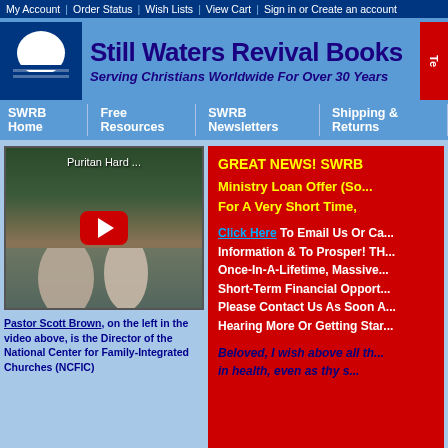My Account | Order Status | Wish Lists | View Cart | Sign in or Create an account
Still Waters Revival Books
Serving Christians Worldwide For Over 30 Years
SWRB Home | Free Resources | SWRB Newsletters | Shipping & Returns
[Figure (screenshot): YouTube video thumbnail showing two men, titled 'Puritan Hard ...' with red YouTube play button]
Pastor Scott Brown, on the left in the video above, is the Director of the National Center for Family-Integrated Churches (NCFIC)
GREAT NEWS! SWRB Ministry Loan Offer (So... For A Very Short Time,

Click Here To Email Us Or Ca... Information & To Prosper! TH... Once-In-A-Lifetime, Massive... Short-Term Financial Opport... Please Contact Us As Soon A... Hearing More Or Getting Star...

Beloved, I wish above all th... in health, even as thy s...